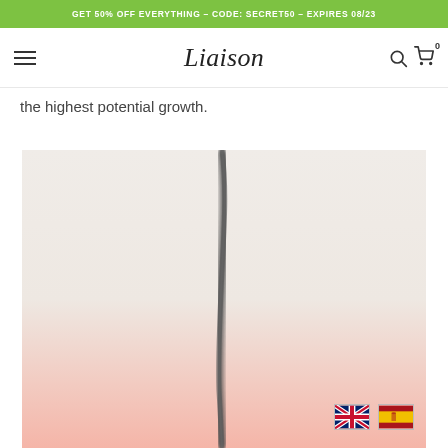GET 50% OFF EVERYTHING – CODE: SECRET50 – EXPIRES 08/23
Liaison
the highest potential growth.
[Figure (photo): Close-up macro photo of a single dark hair strand or hair follicle against a light skin-toned background that transitions from beige/cream at the top to a soft pink at the bottom. The hair strand runs vertically through the center of the image.]
[Figure (illustration): UK flag (Union Jack) and Spanish flag icons displayed at the bottom right of the image, used as language selectors.]